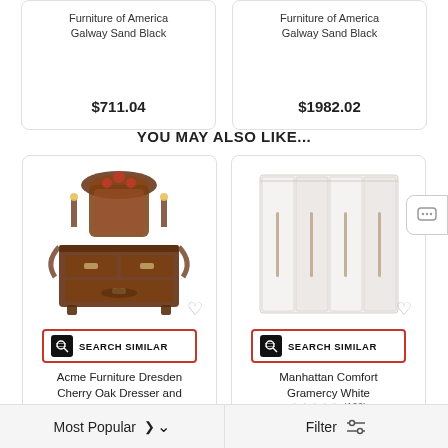Furniture of America Galway Sand Black
$711.04
Furniture of America Galway Sand Black
$1982.02
YOU MAY ALSO LIKE...
[Figure (photo): Acme Furniture Dresden Cherry Oak Dresser with ornate carved wooden mirror and decorative details]
SEARCH SIMILAR
Acme Furniture Dresden Cherry Oak Dresser and
[Figure (photo): Manhattan Comfort Gramercy White wardrobe with multiple white doors and vertical bar handles]
SEARCH SIMILAR
Manhattan Comfort Gramercy White
Most Popular   Filter